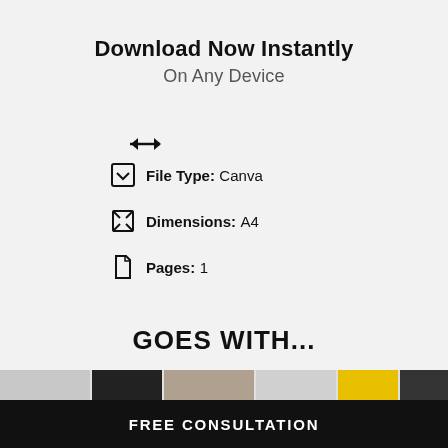Download Now Instantly
On Any Device
File Type: Canva
Dimensions: A4
Pages: 1
GOES WITH...
FREE CONSULTATION